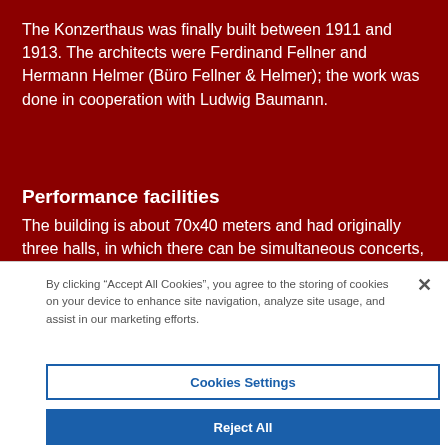The Konzerthaus was finally built between 1911 and 1913. The architects were Ferdinand Fellner and Hermann Helmer (Büro Fellner & Helmer); the work was done in cooperation with Ludwig Baumann.
Performance facilities
The building is about 70x40 meters and had originally three halls, in which there can be simultaneous concerts, since
By clicking “Accept All Cookies”, you agree to the storing of cookies on your device to enhance site navigation, analyze site usage, and assist in our marketing efforts.
Cookies Settings
Reject All
Accept All Cookies